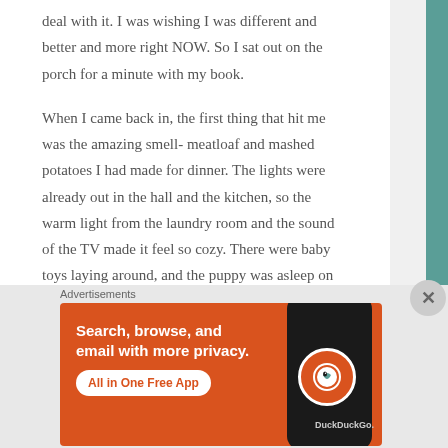deal with it. I was wishing I was different and better and more right NOW. So I sat out on the porch for a minute with my book.

When I came back in, the first thing that hit me was the amazing smell- meatloaf and mashed potatoes I had made for dinner. The lights were already out in the hall and the kitchen, so the warm light from the laundry room and the sound of the TV made it feel so cozy. There were baby toys laying around, and the puppy was asleep on the floor.

It looks just like a family lives here, is what I thought. I know
Advertisements
[Figure (other): DuckDuckGo advertisement banner with orange background showing a smartphone. Text reads: Search, browse, and email with more privacy. All in One Free App. DuckDuckGo logo visible.]